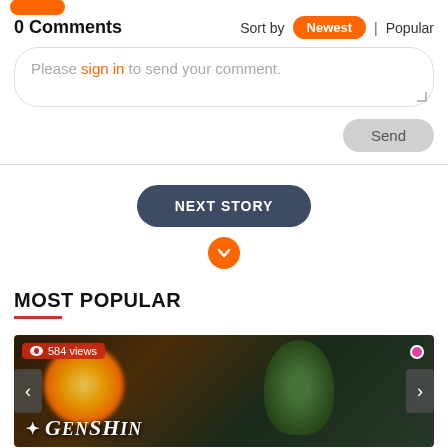0 Comments
Sort by Newest | Popular
Please sign in to send your comment.
Send
NEXT STORY
MOST POPULAR
[Figure (photo): Genshin Impact game screenshot showing a glowing golden orb and a green creature character, with '584 views' badge and Genshin logo at bottom left. Carousel with prev/next navigation arrows.]